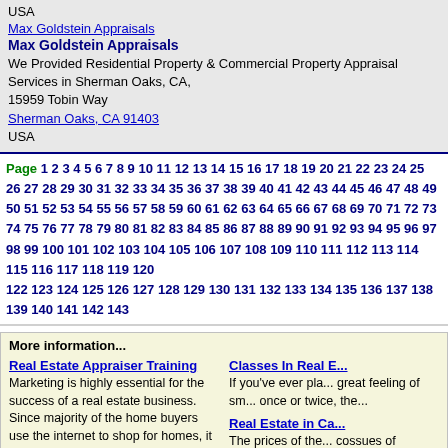USA
Max Goldstein Appraisals
Max Goldstein Appraisals
We Provided Residential Property & Commercial Property Appraisal Services in Sherman Oaks, CA,
15959 Tobin Way
Sherman Oaks, CA 91403
USA
Page 1 2 3 4 5 6 7 8 9 10 11 12 13 14 15 16 17 18 19 20 21 22 23 24 25 26 27 28 29 30 31 32 33 34 35 36 37 38 39 40 41 42 43 44 45 46 47 48 49 50 51 52 53 54 55 56 57 58 59 60 61 62 63 64 65 66 67 68 69 70 71 72 73 74 75 76 77 78 79 80 81 82 83 84 85 86 87 88 89 90 91 92 93 94 95 96 97 98 99 100 101 102 103 104 105 106 107 108 109 110 111 112 113 114 115 116 117 118 119 120 122 123 124 125 126 127 128 129 130 131 132 133 134 135 136 137 138 139 140 141 142 143
More information...
Real Estate Appraiser Training
Marketing is highly essential for the success of a real estate business. Since majority of the home buyers use the internet to shop for homes, it has made important for the realtors to ...
Classes In Real E...
If you've ever pla... great feeling of sm... once or twice, the...
5 Things to Look for in a Property Appraiser
Homeowners who are seeking a property appraiser often ask "How should I choose which real estate appraiser to use?" When selecting a property appraiser...
Real Estate in Ca...
The prices of the... cossues of Califo... example, since th...